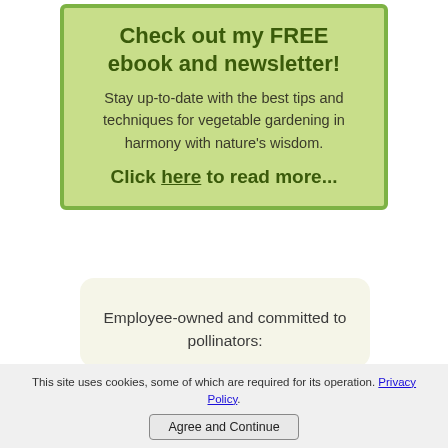Check out my FREE ebook and newsletter!
Stay up-to-date with the best tips and techniques for vegetable gardening in harmony with nature's wisdom.
Click here to read more...
Employee-owned and committed to pollinators:
This site uses cookies, some of which are required for its operation. Privacy Policy.
Agree and Continue